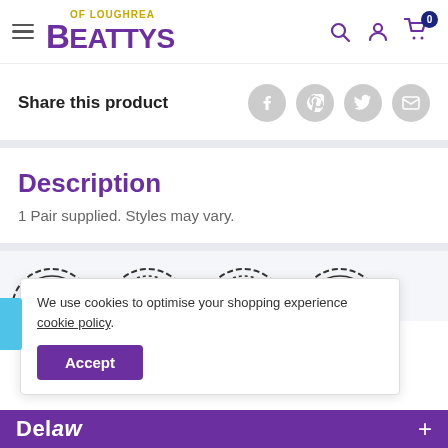Beattys of Loughrea — navigation header with logo, search, account, and cart icons
Share this product
Description
1 Pair supplied. Styles may vary.
[Figure (other): Four partially visible badge/seal icons at the bottom of the page]
We use cookies to optimise your shopping experience cookie policy.
Accept